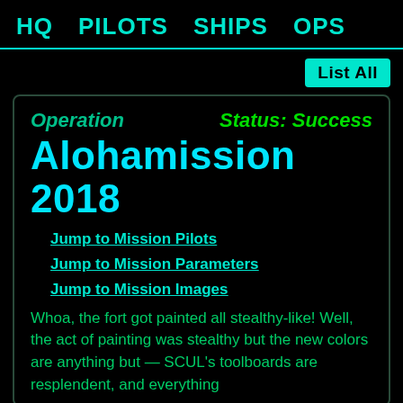HQ   PILOTS   SHIPS   OPS
List All
Operation   Status: Success
Alohamission 2018
Jump to Mission Pilots
Jump to Mission Parameters
Jump to Mission Images
Whoa, the fort got painted all stealthy-like! Well, the act of painting was stealthy but the new colors are anything but — SCUL's toolboards are resplendent, and everything